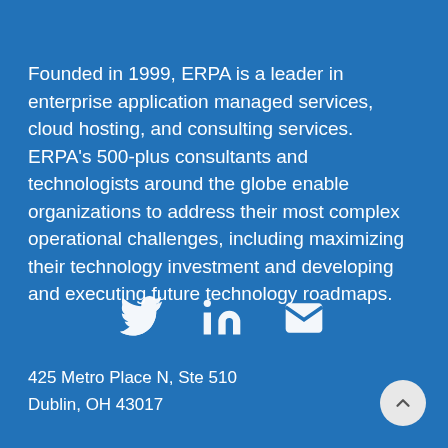Founded in 1999, ERPA is a leader in enterprise application managed services, cloud hosting, and consulting services. ERPA's 500-plus consultants and technologists around the globe enable organizations to address their most complex operational challenges, including maximizing their technology investment and developing and executing future technology roadmaps.
[Figure (infographic): Three white social media icons: Twitter bird, LinkedIn 'in', and envelope/email icon centered on blue background]
425 Metro Place N, Ste 510
Dublin, OH 43017